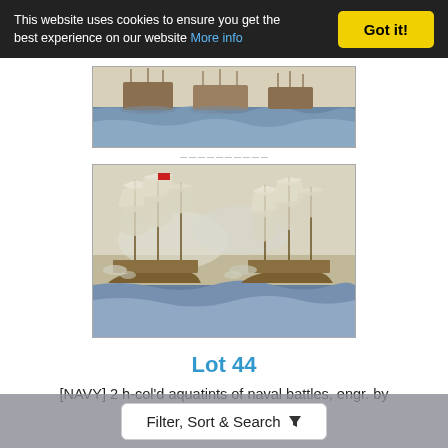This website uses cookies to ensure you get the best experience on our website More info
[Figure (photo): Two hand-coloured aquatints of naval battles. Top image shows multiple sailing vessels in rough seas. Bottom image shows two large sailing warships engaged in battle with smoke and sails.]
Lot 44
[NAVY] 2 h-col'd aquatints of naval battles, engr. by
Filter, Sort & Search